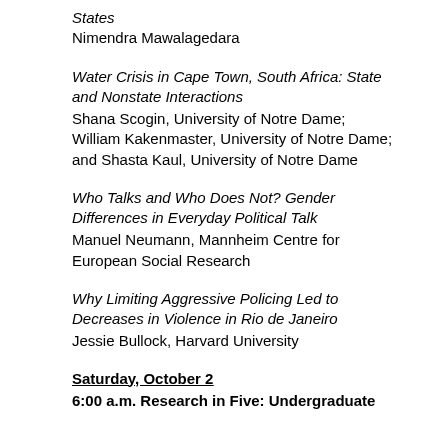States
Nimendra Mawalagedara
Water Crisis in Cape Town, South Africa: State and Nonstate Interactions
Shana Scogin, University of Notre Dame;  William Kakenmaster, University of Notre Dame; and Shasta Kaul, University of Notre Dame
Who Talks and Who Does Not? Gender Differences in Everyday Political Talk
Manuel Neumann, Mannheim Centre for European Social Research
Why Limiting Aggressive Policing Led to Decreases in Violence in Rio de Janeiro
Jessie Bullock, Harvard University
Saturday, October 2
6:00 a.m. Research in Five: Undergraduate